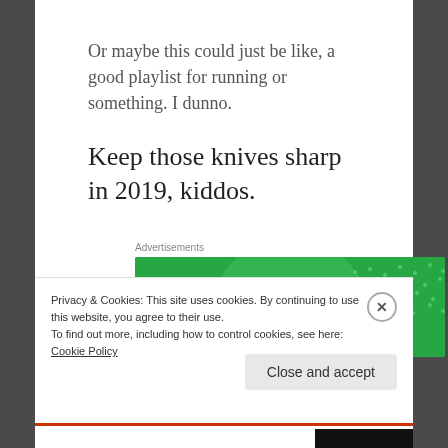Or maybe this could just be like, a good playlist for running or something. I dunno.
Keep those knives sharp in 2019, kiddos.
[Figure (logo): Jetpack advertisement banner with green background and Jetpack logo with lightning bolt icon]
Privacy & Cookies: This site uses cookies. By continuing to use this website, you agree to their use.
To find out more, including how to control cookies, see here: Cookie Policy
Close and accept